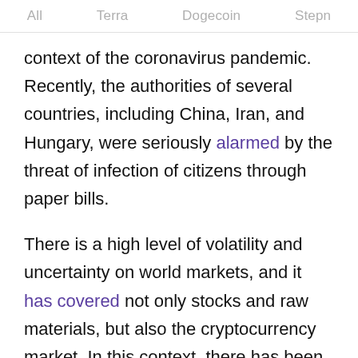All   Terra   Dogecoin   Stepn
context of the coronavirus pandemic. Recently, the authorities of several countries, including China, Iran, and Hungary, were seriously alarmed by the threat of infection of citizens through paper bills.
There is a high level of volatility and uncertainty on world markets, and it has covered not only stocks and raw materials, but also the cryptocurrency market. In this context, there has been a noticeable influx of capital into stablecoins, which caused great doubt and indecision among investors.